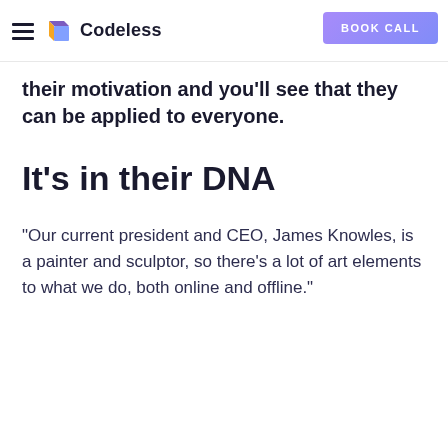Codeless — BOOK CALL
their motivation and you'll see that they can be applied to everyone.
It's in their DNA
“Our current president and CEO, James Knowles, is a painter and sculptor, so there’s a lot of art elements to what we do, both online and offline.”